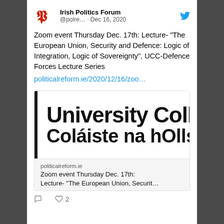[Figure (screenshot): Twitter/social media post screenshot showing Irish Politics Forum account (@polre...) dated Dec 16, 2020, with tweet text about a Zoom event on Dec 17th about 'The European Union, Security and Defence: Logic of Integration, Logic of Sovereignty', UCC-Defence Forces Lecture Series, with a link preview showing University College (Coláiste na hOlls...) logo image and link preview card from politicalreform.ie, with 0 comments and 2 likes shown at bottom.]